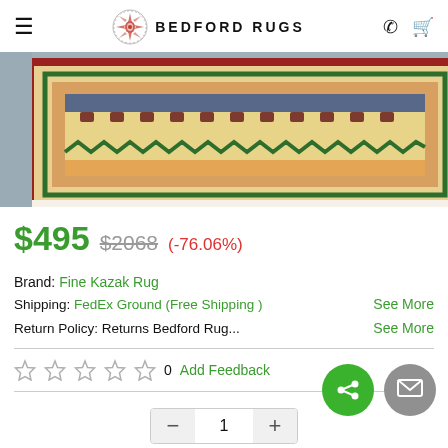BEDFORD RUGS
[Figure (photo): Close-up of a colorful Fine Kazak rug with geometric patterns in red, blue, green, and gold on cream background]
$495  $2068  (-76.06%)
Brand: Fine Kazak Rug
Shipping: FedEx Ground (Free Shipping )   See More
Return Policy: Returns Bedford Rug...   See More
☆ ☆ ☆ ☆ ☆  0  Add Feedback